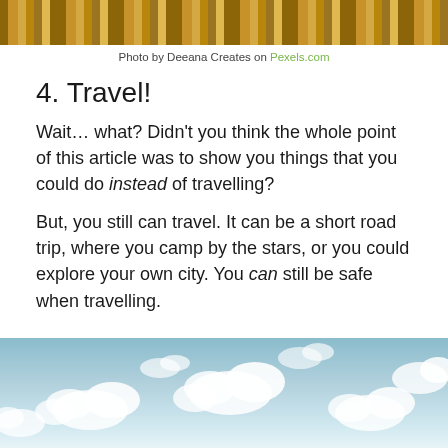[Figure (photo): Top portion of a photo showing golden/bronze colored pencils or similar cylindrical objects against a teal background]
Photo by Deeana Creates on Pexels.com
4. Travel!
Wait… what? Didn't you think the whole point of this article was to show you things that you could do instead of travelling?
But, you still can travel. It can be a short road trip, where you camp by the stars, or you could explore your own city. You can still be safe when travelling.
[Figure (photo): Photo of blue sky with white fluffy clouds]